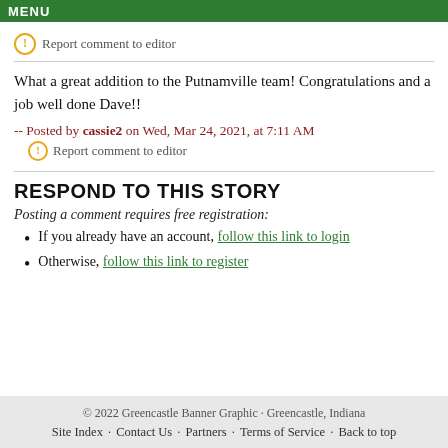MENU
Report comment to editor
What a great addition to the Putnamville team! Congratulations and a job well done Dave!!
-- Posted by cassie2 on Wed, Mar 24, 2021, at 7:11 AM
Report comment to editor
RESPOND TO THIS STORY
Posting a comment requires free registration:
If you already have an account, follow this link to login
Otherwise, follow this link to register
© 2022 Greencastle Banner Graphic · Greencastle, Indiana
Site Index · Contact Us · Partners · Terms of Service · Back to top